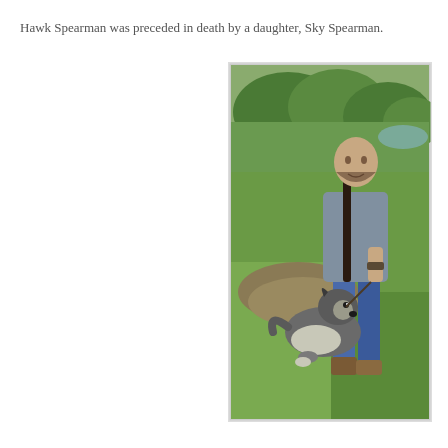Hawk Spearman was preceded in death by a daughter, Sky Spearman.
[Figure (photo): A man with long dark hair wearing a gray t-shirt and jeans stands on a grass lawn outdoors, holding a leash attached to a husky-type dog sitting at his feet looking up at him. Trees and a pond are visible in the background.]